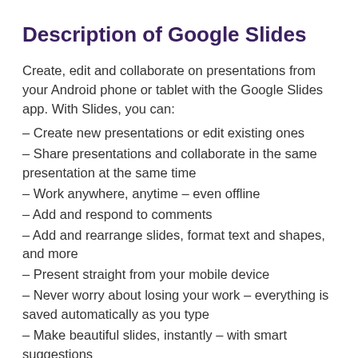Description of Google Slides
Create, edit and collaborate on presentations from your Android phone or tablet with the Google Slides app. With Slides, you can:
– Create new presentations or edit existing ones
– Share presentations and collaborate in the same presentation at the same time
– Work anywhere, anytime – even offline
– Add and respond to comments
– Add and rearrange slides, format text and shapes, and more
– Present straight from your mobile device
– Never worry about losing your work – everything is saved automatically as you type
– Make beautiful slides, instantly – with smart suggestions